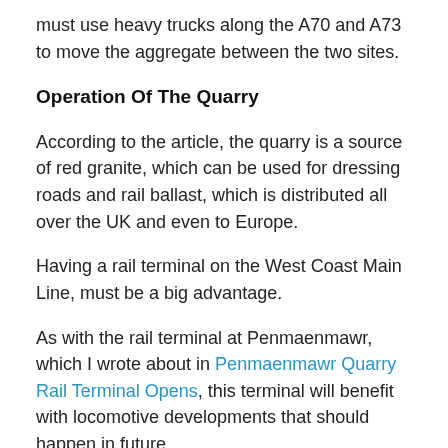must use heavy trucks along the A70 and A73 to move the aggregate between the two sites.
Operation Of The Quarry
According to the article, the quarry is a source of red granite, which can be used for dressing roads and rail ballast, which is distributed all over the UK and even to Europe.
Having a rail terminal on the West Coast Main Line, must be a big advantage.
As with the rail terminal at Penmaenmawr, which I wrote about in Penmaenmawr Quarry Rail Terminal Opens, this terminal will benefit with locomotive developments that should happen in future.